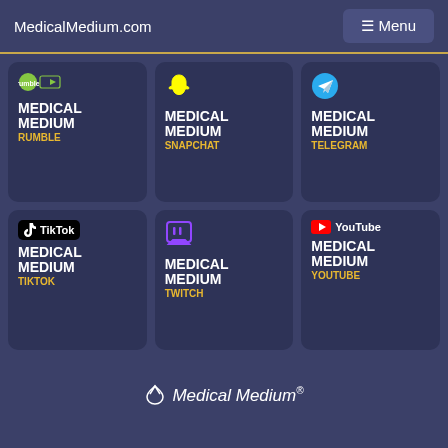MedicalMedium.com | Menu
[Figure (infographic): Social media card: Medical Medium Rumble with Rumble logo]
[Figure (infographic): Social media card: Medical Medium Snapchat with Snapchat ghost logo]
[Figure (infographic): Social media card: Medical Medium Telegram with Telegram logo]
[Figure (infographic): Social media card: Medical Medium TikTok with TikTok logo]
[Figure (infographic): Social media card: Medical Medium Twitch with Twitch logo]
[Figure (infographic): Social media card: Medical Medium YouTube with YouTube logo]
Medical Medium®